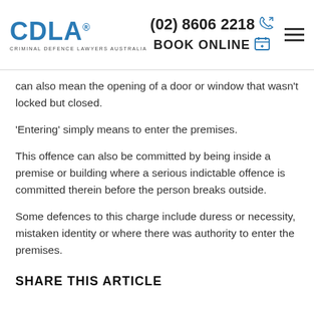CDLA® CRIMINAL DEFENCE LAWYERS AUSTRALIA | (02) 8606 2218 | BOOK ONLINE
can also mean the opening of a door or window that wasn't locked but closed.
'Entering' simply means to enter the premises.
This offence can also be committed by being inside a premise or building where a serious indictable offence is committed therein before the person breaks outside.
Some defences to this charge include duress or necessity, mistaken identity or where there was authority to enter the premises.
SHARE THIS ARTICLE